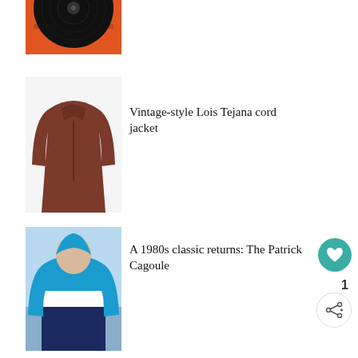[Figure (photo): Vinyl record on orange turntable, partially cropped at top]
[Figure (photo): Brown corduroy zip-neck jacket on white background]
Vintage-style Lois Tejana cord jacket
[Figure (photo): Man wearing blue and navy Patrick Cagoule windbreaker jacket]
A 1980s classic returns: The Patrick Cagoule
[Figure (photo): Yellow retro Roberts radio with handle]
10 of the best retro kitchen radios
[Figure (photo): Black and white Adidas Originals Mexicana shoe, partially visible]
1960s Adidas Originals Mexicana